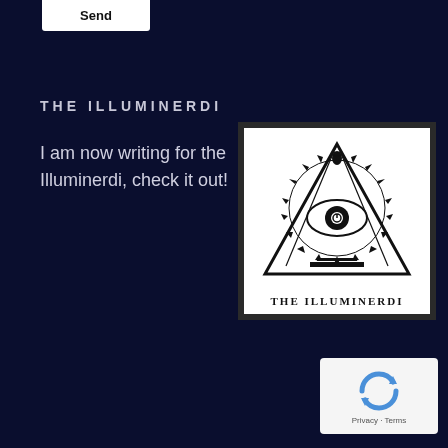Send
THE ILLUMINERDI
I am now writing for the Illuminerdi, check it out!
[Figure (logo): The Illuminerdi logo: black and white image of an eye inside a triangle with sun rays and ornamental details, with text 'THE ILLUMINERDI' below inside a dark-bordered white square]
[Figure (other): reCAPTCHA widget showing recycle/arrow icon with 'Privacy · Terms' footer text]